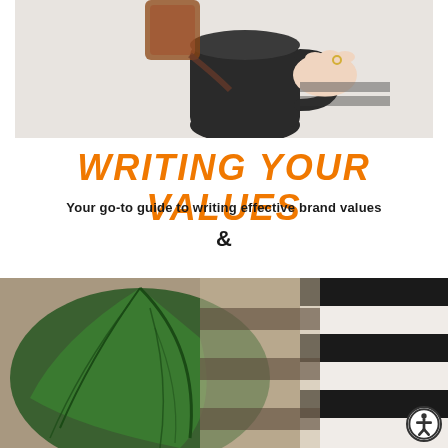[Figure (photo): Top photo: A hand pouring liquid from a glass container into a dark black mug/cup on a light surface]
WRITING YOUR VALUES
Your go-to guide to writing effective brand values
&
[Figure (photo): Bottom photo: A large green leaf on the left side and a striped black and white fabric/textile on the right side]